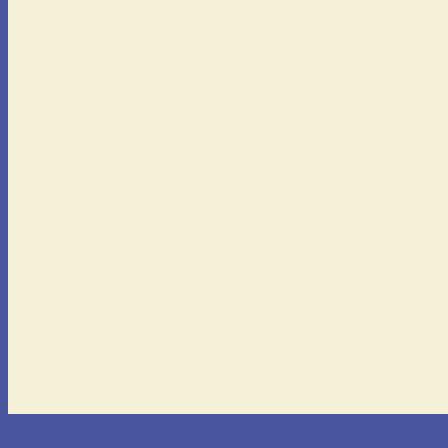[Figure (photo): Product listing image - top product with gold/yellow background, partially visible]
[Figure (photo): Cine-Kodak camera turret movie accessories in black case with lenses]
Cine-Kodak R Turret Movie Accessories V
$45.00
[Figure (photo): New ListingZ Contaflex Su Camera, Pro- And Accesso accessories collection with orange packaging]
New ListingZ Contaflex Su Camera, Pro- And Accesso
Click to see more Filter Accessories
Prices current as of last update, 08/2
See also...
Adapters, Filter Accessories, Len Filter Cases & Wallets, Filter Acc Step Down Rings, Filter Accesso Step Up Rings, Filter Accessorie
Home   Contact   Resources